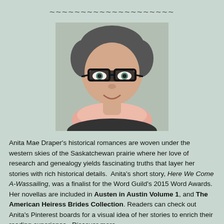~~~~~~~~~~~~~~~~~~~~
[Figure (photo): Portrait photo of Anita Mae Draper, a woman with short grey hair and black glasses, wearing a pink scarf.]
Anita Mae Draper's historical romances are woven under the western skies of the Saskatchewan prairie where her love of research and genealogy yields fascinating truths that layer her stories with rich historical details.  Anita's short story, Here We Come A-Wassailing, was a finalist for the Word Guild's 2015 Word Awards. Her novellas are included in Austen in Austin Volume 1, and The American Heiress Brides Collection. Readers can check out Anita's Pinterest boards for a visual idea of her stories to enrich their reading experience.  Discover more